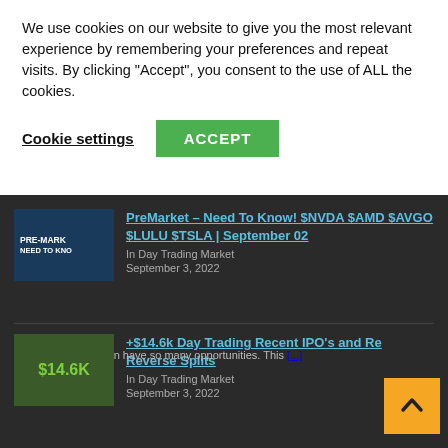We use cookies on our website to give you the most relevant experience by remembering your preferences and repeat visits. By clicking "Accept", you consent to the use of ALL the cookies.
Cookie settings
ACCEPT
PreMarket – Need To Know! $NVDA $AMD $AVGO $LULU $TSLA | September 02
In Day Trading Market
September 3, 2022
Pre-market hours can have so many opportunities. This [...]
+$14.6k Day Trading Recent IPO's and Re Reverse Splits
In Day Trading Market
September 3, 2022